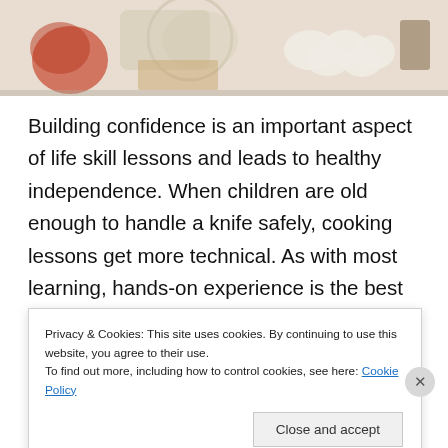[Figure (photo): Top portion of a photo showing cooking ingredients on a kitchen counter including bowls, eggs, and vegetables on a light background]
Building confidence is an important aspect of life skill lessons and leads to healthy independence. When children are old enough to handle a knife safely, cooking lessons get more technical. As with most learning, hands-on experience is the best way to learn.
It's important to consider how you want your family to interact daily when planning a kitchen remodel. As a major family gathering space, the importance of a kitchen should
Privacy & Cookies: This site uses cookies. By continuing to use this website, you agree to their use.
To find out more, including how to control cookies, see here: Cookie Policy
Close and accept